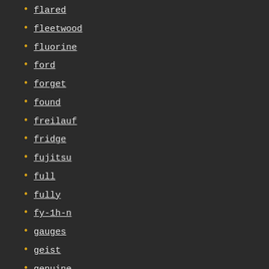flared
fleetwood
fluorine
ford
forget
found
freilauf
fridge
fujitsu
full
fully
fy-1h-n
gauges
geist
genuine
genunie
georgie
globecar
gotafe
gray
great
grid